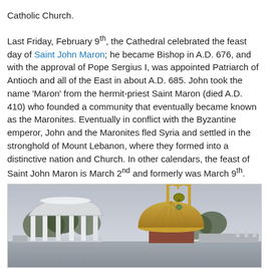Catholic Church.
Last Friday, February 9th, the Cathedral celebrated the feast day of Saint John Maron; he became Bishop in A.D. 676, and with the approval of Pope Sergius I, was appointed Patriarch of Antioch and all of the East in about A.D. 685. John took the name 'Maron' from the hermit-priest Saint Maron (died A.D. 410) who founded a community that eventually became known as the Maronites. Eventually in conflict with the Byzantine emperor, John and the Maronites fled Syria and settled in the stronghold of Mount Lebanon, where they formed into a distinctive nation and Church. In other calendars, the feast of Saint John Maron is March 2nd and formerly was March 9th.
[Figure (photo): Exterior photo of a church building showing a white gazebo-like structure with columns on the left and a golden/copper dome with a bell arch and cross on the right, set against an overcast sky.]